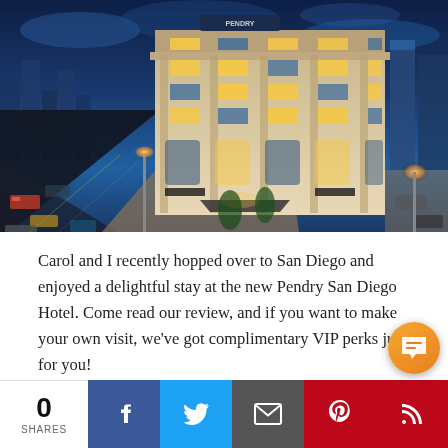[Figure (photo): Aerial/elevated nighttime photo of the Pendry San Diego Hotel — a large modern stone-clad building illuminated from within, situated at a street corner with a busy city street with warm streetlights on the left, and the broader San Diego skyline with blue evening sky in the background.]
Carol and I recently hopped over to San Diego and enjoyed a delightful stay at the new Pendry San Diego Hotel. Come read our review, and if you want to make your own visit, we've got complimentary VIP perks just for you!